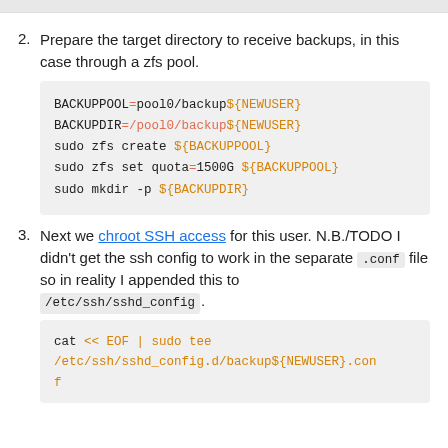2. Prepare the target directory to receive backups, in this case through a zfs pool.
BACKUPPOOL=pool0/backup${NEWUSER}
BACKUPDIR=/pool0/backup${NEWUSER}
sudo zfs create ${BACKUPPOOL}
sudo zfs set quota=1500G ${BACKUPPOOL}
sudo mkdir -p ${BACKUPDIR}
3. Next we chroot SSH access for this user. N.B./TODO I didn't get the ssh config to work in the separate .conf file so in reality I appended this to /etc/ssh/sshd_config .
cat << EOF | sudo tee /etc/ssh/sshd_config.d/backup${NEWUSER}.conf